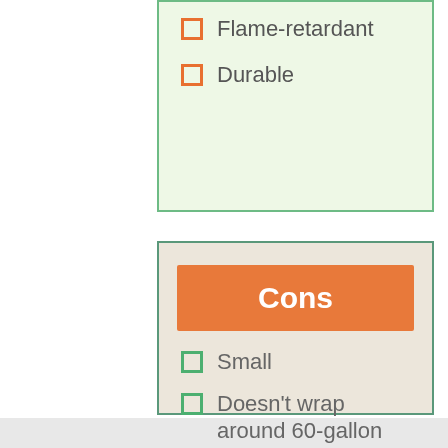Flame-retardant
Durable
Cons
Small
Doesn't wrap around 60-gallon tank